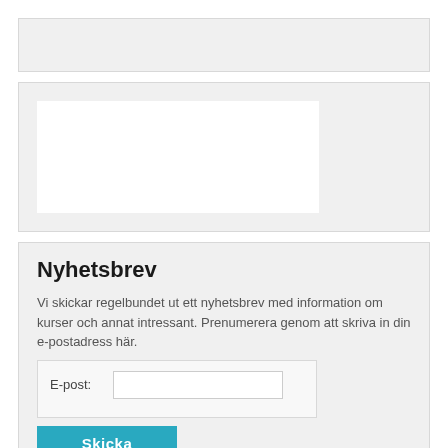[Figure (other): Grey placeholder box at top of page]
[Figure (other): Grey container box with a white inner rectangle positioned to the left]
Nyhetsbrev
Vi skickar regelbundet ut ett nyhetsbrev med information om kurser och annat intressant. Prenumerera genom att skriva in din e-postadress här.
E-post:
Skicka